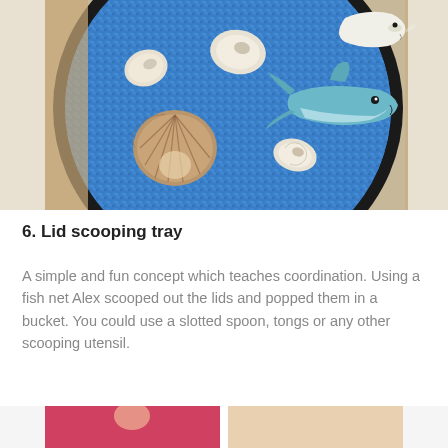[Figure (photo): A round dark tray filled with blue dyed rice, with seashells and toy plastic marine animals (shark, dolphin/whale) placed on top, viewed from above]
6. Lid scooping tray
A simple and fun concept which teaches coordination. Using a fish net Alex scooped out the lids and popped them in a bucket. You could use a slotted spoon, tongs or any other scooping utensil.
[Figure (photo): Partial view of another photo at the bottom of the page — a child activity scene, mostly cropped off]